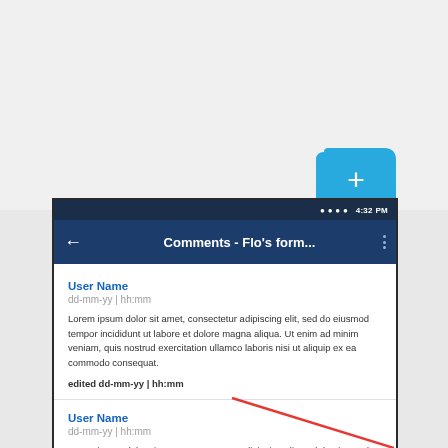[Figure (screenshot): Mobile app screenshot showing Comments screen with app bar titled 'Comments - Flo’s form...' and two comment cards with lorem ipsum text. A blue FAB (+) button appears above the phone screen. A red diagonal annotation line crosses the second comment's text area.]
User Name
dd-mm-yy | hh:mm
Lorem ipsum dolor sit amet, consectetur adipiscing elit, sed do eiusmod tempor incididunt ut labore et dolore magna aliqua. Ut enim ad minim veniam, quis nostrud exercitation ullamco laboris nisi ut aliquip ex ea commodo consequat.
edited dd-mm-yy | hh:mm
User Name
dd-mm-yy | hh:mm
Lorem ipsum dolor sit amet, consectetur adipiscing elit, sed do eiusmod tempor incididunt ut labore et dolore magna.